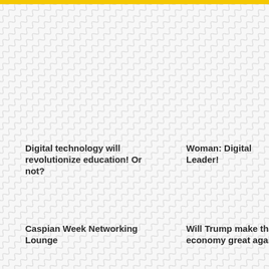[Figure (illustration): Yellow horizontal bar at the top of the page, followed by a full-page wavy diagonal line pattern background in light gray on white.]
Digital technology will revolutionize education! Or not?
Woman: Digital Leader!
Caspian Week Networking Lounge
Will Trump make the economy great again?